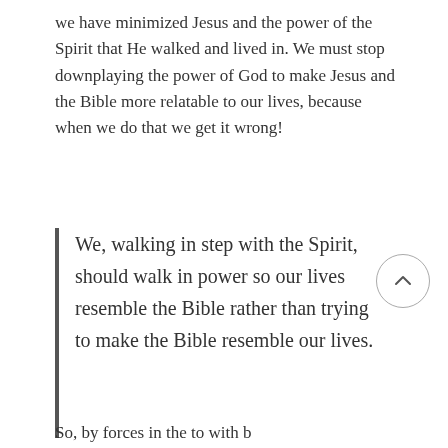we have minimized Jesus and the power of the Spirit that He walked and lived in. We must stop downplaying the power of God to make Jesus and the Bible more relatable to our lives, because when we do that we get it wrong!
We, walking in step with the Spirit, should walk in power so our lives resemble the Bible rather than trying to make the Bible resemble our lives.
So, by forces in the to with b...